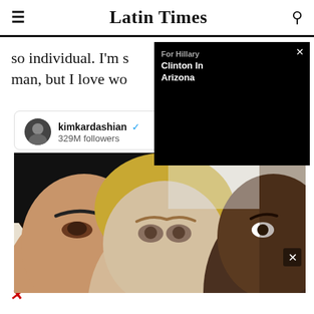Latin Times
so individual. I'm s man, but I love wo
[Figure (screenshot): Popup overlay showing truncated title text and 'Clinton In Arizona' label over a black video area with an X close button]
[Figure (screenshot): Embedded tweet card from kimkardashian (verified, 329M followers) showing a selfie photo of three people]
[Figure (photo): Selfie photo showing three people: woman with dark hair on left, blonde woman in center (Hillary Clinton), dark-skinned man on right (Kanye West)]